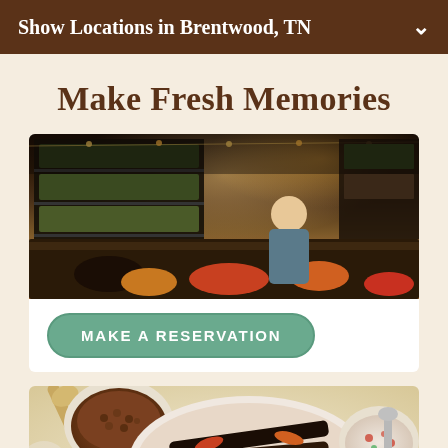Show Locations in Brentwood, TN
Make Fresh Memories
[Figure (photo): Interior photo of a restaurant with a food bar/buffet counter with produce and warm string lights overhead, staff member visible behind the counter]
MAKE A RESERVATION
[Figure (photo): Overhead shot of Mexican food spread on a table including a large platter with grilled meat/fajitas, bowls of beans, guacamole, corn, rice, and salsa]